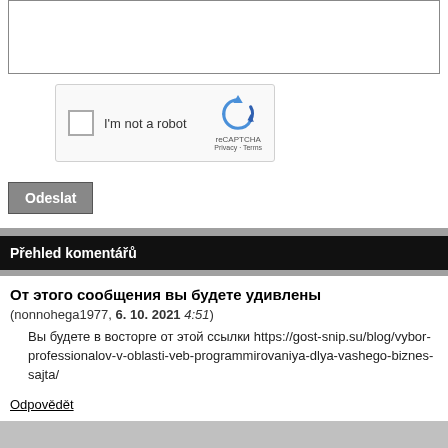[Figure (screenshot): reCAPTCHA widget with checkbox labeled 'I'm not a robot' and reCAPTCHA logo]
Odeslat
Přehled komentářů
От этого сообщения вы будете удивлены
(nonnohega1977, 6. 10. 2021 4:51)
Вы будете в восторге от этой ссылки https://gost-snip.su/blog/vybor-professionalov-v-oblasti-veb-programmirovaniya-dlya-vashego-biznes-sajta/
Odpovědět